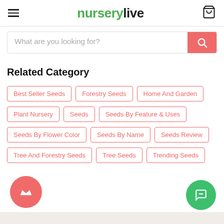[Figure (logo): nurserylive logo with hamburger menu and cart icon in header]
[Figure (screenshot): Search bar with placeholder 'What are you looking for?' and red search button]
Related Category
Best Seller Seeds
Forestry Seeds
Home And Garden
Plant Nursery
Seeds
Seeds By Feature & Uses
Seeds By Flower Color
Seeds By Name
Seeds Review
Tree And Forestry Seeds
Tree Seeds
Trending Seeds